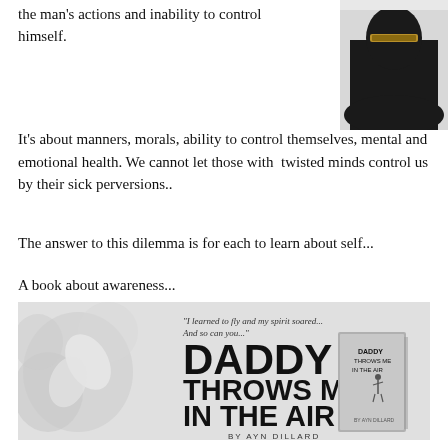the man's actions and inability to control himself.
[Figure (photo): A person wearing a black niqab (full face veil), photographed from shoulders up against a light background.]
It's about manners, morals, ability to control themselves, mental and emotional health. We cannot let those with twisted minds control us by their sick perversions..
The answer to this dilemma is for each to learn about self...
A book about awareness...
[Figure (illustration): Book banner/advertisement for 'Daddy Throws Me In The Air' by Ayn Dillard. Features the quote 'I learned to fly and my spirit soared... And so can you...' with large bold title text and an image of the book cover on a grey/white background with floral elements.]